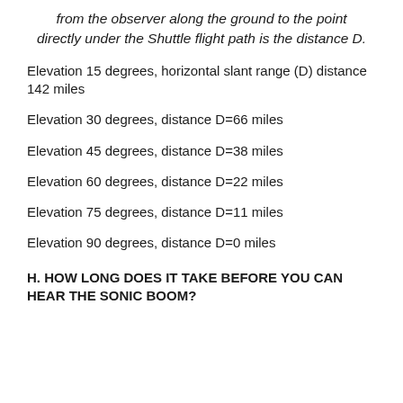from the observer along the ground to the point directly under the Shuttle flight path is the distance D.
Elevation 15 degrees, horizontal slant range (D) distance 142 miles
Elevation 30 degrees, distance D=66 miles
Elevation 45 degrees, distance D=38 miles
Elevation 60 degrees, distance D=22 miles
Elevation 75 degrees, distance D=11 miles
Elevation 90 degrees, distance D=0 miles
H. HOW LONG DOES IT TAKE BEFORE YOU CAN HEAR THE SONIC BOOM?